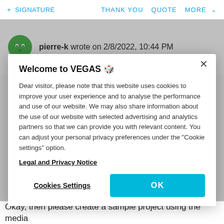+ SIGNATURE   THANK YOU   QUOTE   MORE
pierre-k wrote on 2/8/2022, 10:44 PM
Welcome to VEGAS 🎰
Dear visitor, please note that this website uses cookies to improve your user experience and to analyse the performance and use of our website. We may also share information about the use of our website with selected advertising and analytics partners so that we can provide you with relevant content. You can adjust your personal privacy preferences under the "Cookie settings" option.
Legal and Privacy Notice
Cookies Settings   OK
Okay, then please create a sample project using the media